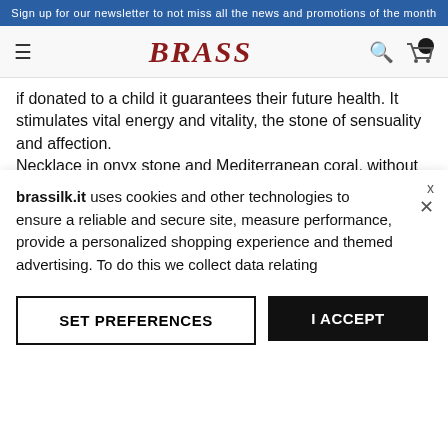Sign up for our newsletter to not miss all the news and promotions of the month
BRASS
if donated to a child it guarantees their future health. It stimulates vital energy and vitality, the stone of sensuality and affection.
Necklace in onyx stone and Mediterranean coral, without closure.
Length 68 cm.
Product Details
Material   Coral, Onix
ID   437
SKU
Brand   BRASS Workshop
Category   WOMAN / Jewelry / Necklace
brassilk.it uses cookies and other technologies to ensure a reliable and secure site, measure performance, provide a personalized shopping experience and themed advertising. To do this we collect data relating